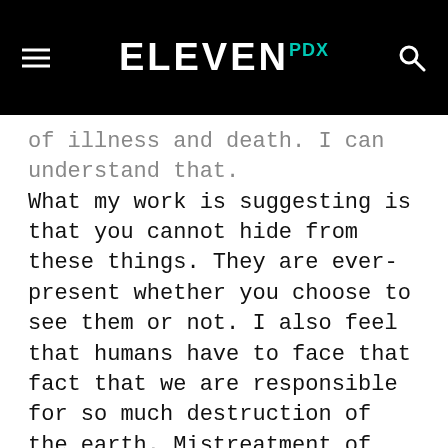ELEVEN PDX
of illness and death. I can understand that. What my work is suggesting is that you cannot hide from these things. They are ever-present whether you choose to see them or not. I also feel that humans have to face that fact that we are responsible for so much destruction of the earth. Mistreatment of animals, poisoning our own water systems. We do it to ourselves. I think people would rather ignore unpleasant aspects of life, hide the garbage, hide the sick and old. I'm encouraging the viewer to take a peek at the icky insides.